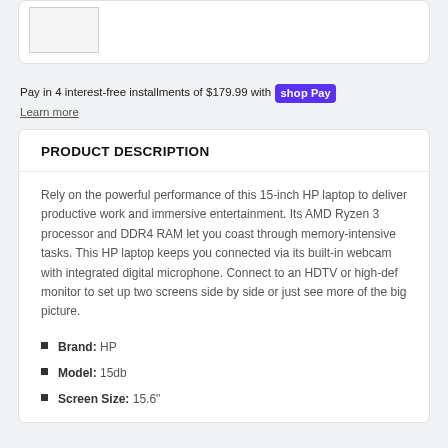[Figure (photo): Small thumbnail image of HP laptop]
Pay in 4 interest-free installments of $179.99 with shop Pay
Learn more
PRODUCT DESCRIPTION
Rely on the powerful performance of this 15-inch HP laptop to deliver productive work and immersive entertainment. Its AMD Ryzen 3 processor and DDR4 RAM let you coast through memory-intensive tasks. This HP laptop keeps you connected via its built-in webcam with integrated digital microphone. Connect to an HDTV or high-def monitor to set up two screens side by side or just see more of the big picture.
Brand: HP
Model: 15db
Screen Size: 15.6"